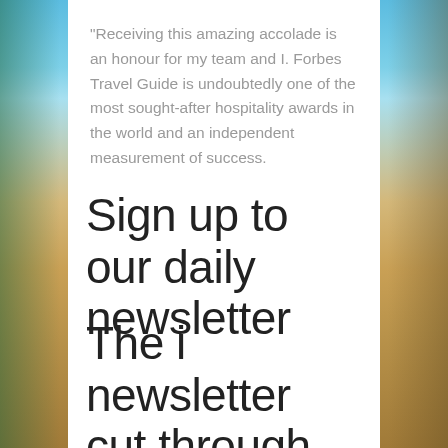“Receiving this amazing accolade is an honour for my team and I. Forbes Travel Guide is undoubtedly one of the most sought-after hospitality awards in the world and an independent measurement of success.
Sign up to our daily newsletter
The i newsletter cut through the noise